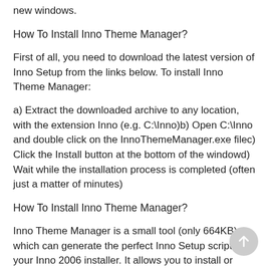new windows.
How To Install Inno Theme Manager?
First of all, you need to download the latest version of Inno Setup from the links below. To install Inno Theme Manager:
a) Extract the downloaded archive to any location, with the extension Inno (e.g. C:\Inno)b) Open C:\Inno and double click on the InnoThemeManager.exe filec) Click the Install button at the bottom of the windowd) Wait while the installation process is completed (often just a matter of minutes)
How To Install Inno Theme Manager?
Inno Theme Manager is a small tool (only 664KB) which can generate the perfect Inno Setup script for your Inno 2006 installer. It allows you to install or uninstall any plugin on the fly. So it's very useful to make your own plugins for your Inno Setup software!